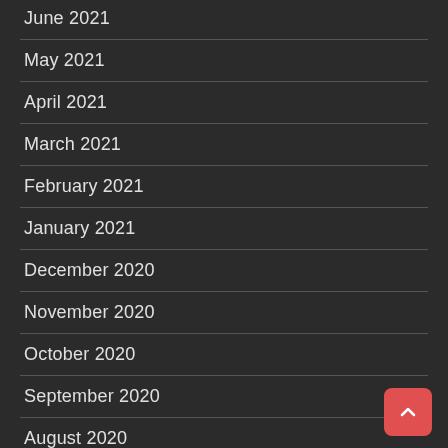June 2021
May 2021
April 2021
March 2021
February 2021
January 2021
December 2020
November 2020
October 2020
September 2020
August 2020
July 2020